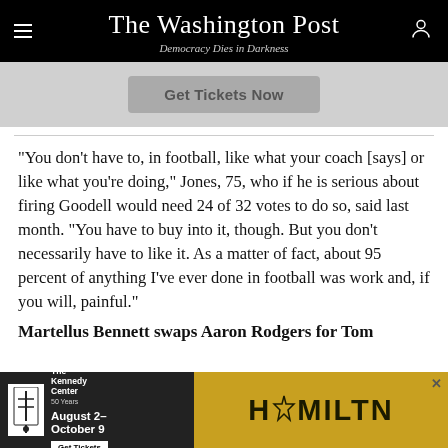The Washington Post — Democracy Dies in Darkness
[Figure (other): Get Tickets Now advertisement button on gray background]
“You don’t have to, in football, like what your coach [says] or like what you’re doing,” Jones, 75, who if he is serious about firing Goodell would need 24 of 32 votes to do so, said last month. “You have to buy into it, though. But you don’t necessarily have to like it. As a matter of fact, about 95 percent of anything I’ve ever done in football was work and, if you will, painful.”
Martellus Bennett swaps Aaron Rodgers for Tom
[Figure (other): Hamilton advertisement banner for Kennedy Center, August 2–October 9, Get Tickets]